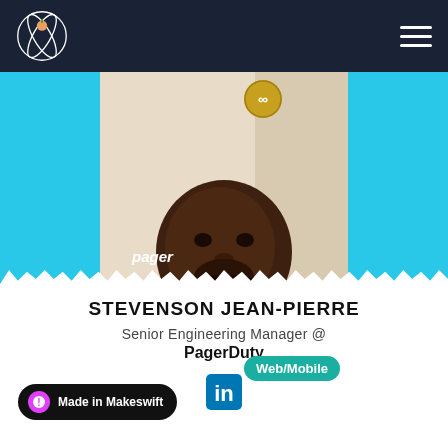Nav bar with logo and hamburger menu
[Figure (photo): Profile photo of Stevenson Jean-Pierre, a Black man in a gray t-shirt, with a PagerDuty logo visible at the bottom of the photo. A gold badge overlay appears top-left of the photo. A teal 'Web/Mobile' tag overlays the bottom-right of the photo.]
STEVENSON JEAN-PIERRE
Senior Engineering Manager @
PagerDuty
[Figure (logo): LinkedIn 'in' logo icon]
Made in Makeswift